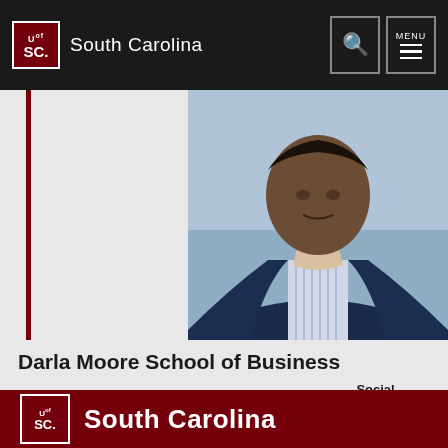South Carolina
[Figure (photo): Man in a navy blazer and striped dress shirt standing outdoors near water, professional headshot style photo]
Darla Moore School of Business
Location | Contact | Give | Calendar | Social Media
[Figure (logo): University of South Carolina logo on dark red background with UofSC text and South Carolina wordmark in white]